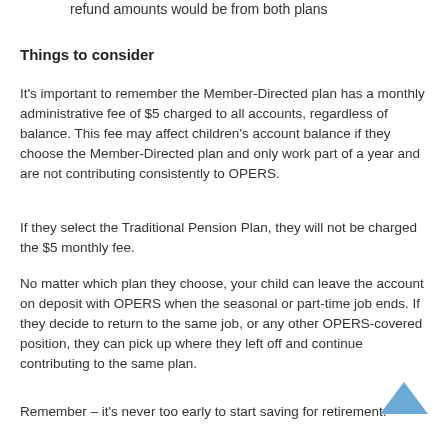refund amounts would be from both plans
Things to consider
It's important to remember the Member-Directed plan has a monthly administrative fee of $5 charged to all accounts, regardless of balance. This fee may affect children's account balance if they choose the Member-Directed plan and only work part of a year and are not contributing consistently to OPERS.
If they select the Traditional Pension Plan, they will not be charged the $5 monthly fee.
No matter which plan they choose, your child can leave the account on deposit with OPERS when the seasonal or part-time job ends. If they decide to return to the same job, or any other OPERS-covered position, they can pick up where they left off and continue contributing to the same plan.
Remember – it's never too early to start saving for retirement.